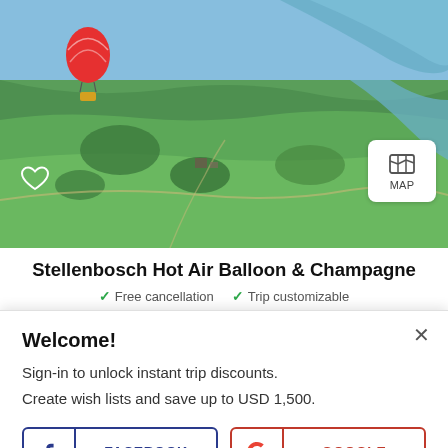[Figure (photo): Aerial photograph of green landscape with river, fields, trees, and a red hot air balloon in the sky]
Stellenbosch Hot Air Balloon & Champagne
✓ Free cancellation  ✓ Trip customizable
Welcome!
Sign-in to unlock instant trip discounts.
Create wish lists and save up to USD 1,500.
More login options here.